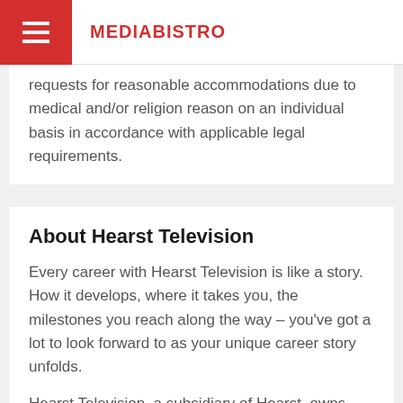MEDIABISTRO
requests for reasonable accommodations due to medical and/or religion reason on an individual basis in accordance with applicable legal requirements.
About Hearst Television
Every career with Hearst Television is like a story. How it develops, where it takes you, the milestones you reach along the way – you've got a lot to look forward to as your unique career story unfolds.
Hearst Television, a subsidiary of Hearst, owns and operates local television and radio stations serving 26 media markets across 39 states reaching over 21 million U.S. television